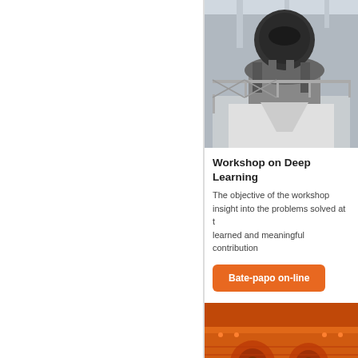[Figure (photo): Industrial cone crusher mounted on an elevated steel platform inside a factory building]
Workshop on Deep Learning
The objective of the workshop insight into the problems solved at the learned and meaningful contribution
Bate-papo on-line
[Figure (photo): Orange industrial vibrating screen or feeder equipment with blue electric motors]